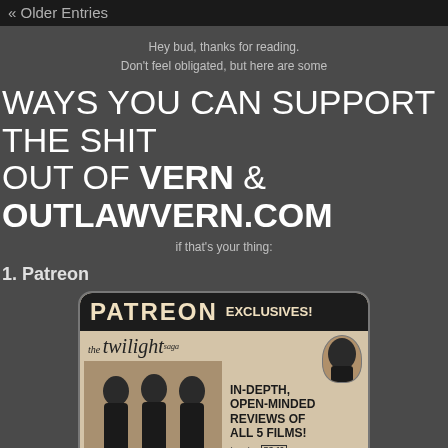« Older Entries
Hey bud, thanks for reading.
Don't feel obligated, but here are some
WAYS YOU CAN SUPPORT THE SHIT OUT OF VERN & OUTLAWVERN.COM
if that's your thing:
1. Patreon
[Figure (illustration): A vintage-style advertisement for Patreon Exclusives featuring the Twilight saga, showing in-depth open-minded reviews of all 5 films in color PG-13, plus TV episodes, Walker, and book to movie comparisons.]